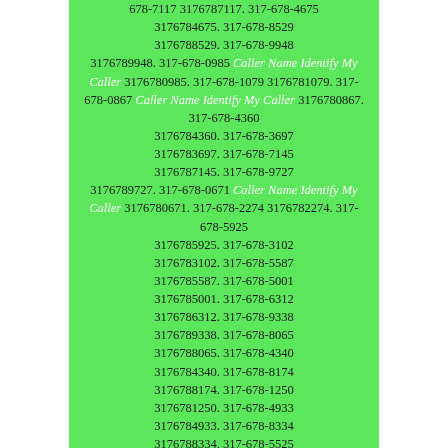678-7117 3176787117. 317-678-4675 3176784675. 317-678-8529 3176788529. 317-678-9948 3176789948. 317-678-0985 Caller Name Identify My Caller 3176780985. 317-678-1079 3176781079. 317-678-0867 Caller Name Identify My Caller 3176780867. 317-678-4360 3176784360. 317-678-3697 3176783697. 317-678-7145 3176787145. 317-678-9727 3176789727. 317-678-0671 Caller Name Identify My Caller 3176780671. 317-678-2274 3176782274. 317-678-5925 3176785925. 317-678-3102 3176783102. 317-678-5587 3176785587. 317-678-5001 3176785001. 317-678-6312 3176786312. 317-678-9338 3176789338. 317-678-8065 3176788065. 317-678-4340 3176784340. 317-678-8174 3176788174. 317-678-1250 3176781250. 317-678-4933 3176784933. 317-678-8334 3176788334. 317-678-5525